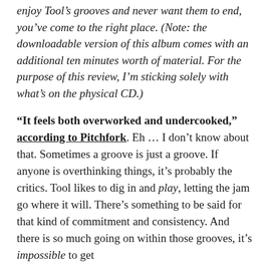enjoy Tool's grooves and never want them to end, you've come to the right place. (Note: the downloadable version of this album comes with an additional ten minutes worth of material. For the purpose of this review, I'm sticking solely with what's on the physical CD.)
"It feels both overworked and undercooked," according to Pitchfork. Eh … I don't know about that. Sometimes a groove is just a groove. If anyone is overthinking things, it's probably the critics. Tool likes to dig in and play, letting the jam go where it will. There's something to be said for that kind of commitment and consistency. And there is so much going on within those grooves, it's impossible to get